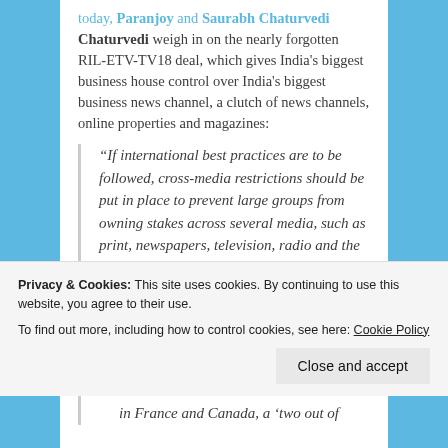Chaturvedi weigh in on the nearly forgotten RIL-ETV-TV18 deal, which gives India's biggest business house control over India's biggest business news channel, a clutch of news channels, online properties and magazines:
“If international best practices are to be followed, cross-media restrictions should be put in place to prevent large groups from owning stakes across several media, such as print, newspapers, television, radio and the internet. In the US, restrictions the...
Privacy & Cookies: This site uses cookies. By continuing to use this website, you agree to their use.
To find out more, including how to control cookies, see here: Cookie Policy
Close and accept
in France and Canada, a ‘two out of...